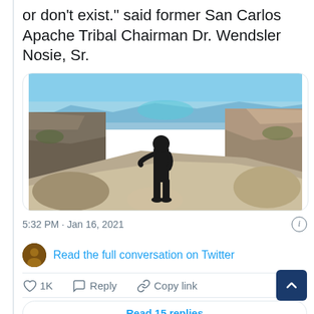or don't exist.” said former San Carlos Apache Tribal Chairman Dr. Wendsler Nosie, Sr.
[Figure (photo): A person dressed in all black standing on rocky terrain in a canyon landscape with blue sky and rugged cliffs in the background.]
5:32 PM · Jan 16, 2021
Read the full conversation on Twitter
1K  Reply  Copy link
Read 15 replies